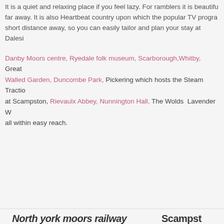It is a quiet and relaxing place if you feel lazy. For ramblers it is beautiful far away. It is also Heartbeat country upon which the popular TV programme short distance away, so you can easily tailor and plan your stay at Dalesi
Danby Moors centre, Ryedale folk museum, Scarborough, Whitby, Great Walled Garden, Duncombe Park, Pickering which hosts the Steam Traction at Scampston, Rievaulx Abbey, Nunnington Hall, The Wolds Lavender W all within easy reach.
North york moors railway
Scampst
[Figure (photo): Photograph of North York Moors Railway, showing landscape with trees under a partly cloudy sky]
[Figure (photo): Photograph of Scampston, showing green landscape with trees and parkland from an aerial or elevated view]